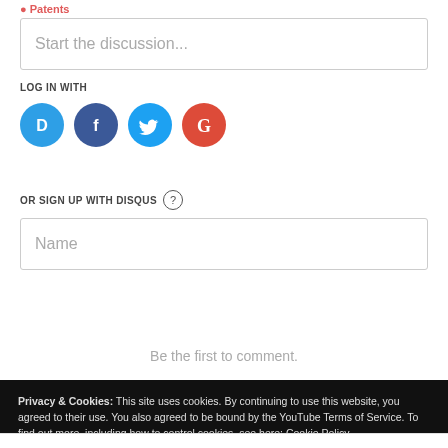Patents
Start the discussion...
LOG IN WITH
[Figure (infographic): Four social login buttons: Disqus (blue circle with D), Facebook (dark blue circle with f), Twitter (light blue circle with bird), Google (red circle with G)]
OR SIGN UP WITH DISQUS ?
Name
Be the first to comment.
Privacy & Cookies: This site uses cookies. By continuing to use this website, you agreed to their use. You also agreed to be bound by the YouTube Terms of Service. To find out more, including how to control cookies, see here: Cookie Policy
Close and accept